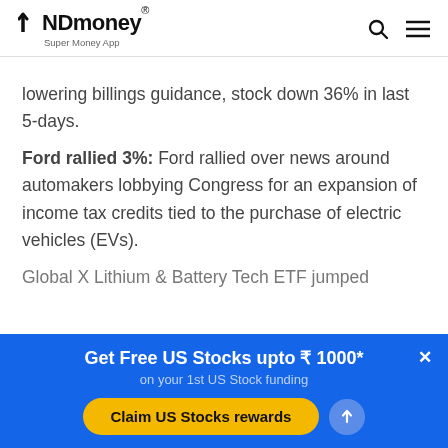INDmoney® Super Money App
lowering billings guidance, stock down 36% in last 5-days.
Ford rallied 3%: Ford rallied over news around automakers lobbying Congress for an expansion of income tax credits tied to the purchase of electric vehicles (EVs).
Global X Lithium & Battery Tech ETF jumped
Get Free US Stocks upto ₹ 1000*
on your 1st US Stock funding
Claim US Stocks rewards